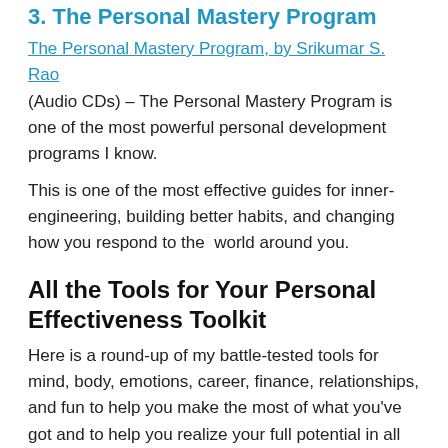3. The Personal Mastery Program
The Personal Mastery Program, by Srikumar S. Rao (Audio CDs) – The Personal Mastery Program is one of the most powerful personal development programs I know.
This is one of the most effective guides for inner-engineering, building better habits, and changing how you respond to the  world around you.
All the Tools for Your Personal Effectiveness Toolkit
Here is a round-up of my battle-tested tools for mind, body, emotions, career, finance, relationships, and fun to help you make the most of what you've got and to help you realize your full potential in all